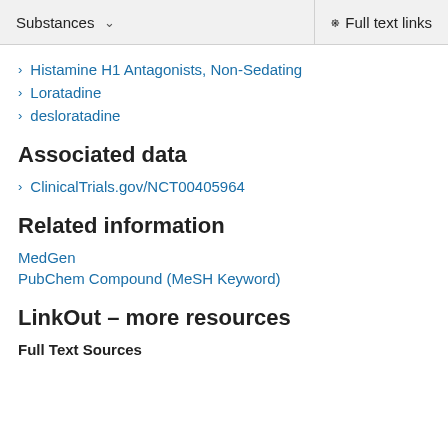Substances  ∨    Full text links
Histamine H1 Antagonists, Non-Sedating
Loratadine
desloratadine
Associated data
ClinicalTrials.gov/NCT00405964
Related information
MedGen
PubChem Compound (MeSH Keyword)
LinkOut – more resources
Full Text Sources